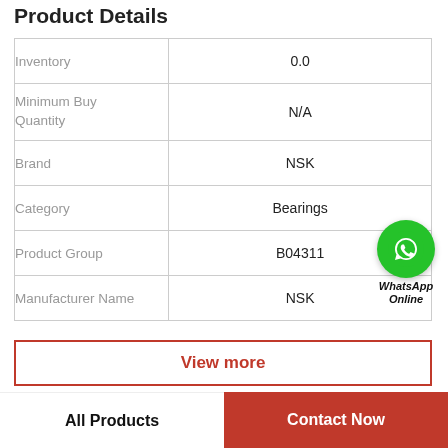Product Details
| Field | Value |
| --- | --- |
| Inventory | 0.0 |
| Minimum Buy Quantity | N/A |
| Brand | NSK |
| Category | Bearings |
| Product Group | B04311 |
| Manufacturer Name | NSK |
[Figure (logo): WhatsApp Online green phone icon badge with text 'WhatsApp Online']
View more
All Products    Contact Now